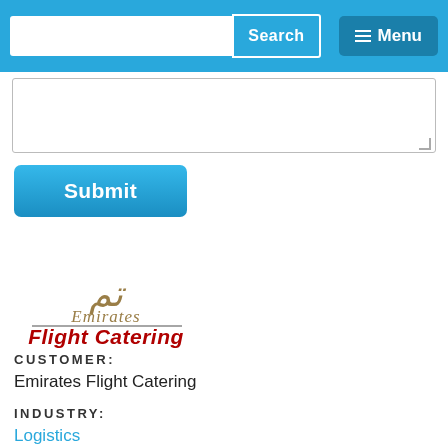Search  Menu
[Figure (screenshot): Text area input field]
[Figure (screenshot): Submit button]
[Figure (logo): Emirates Flight Catering logo with Arabic script emblem, 'Emirates' in gold italic serif, horizontal divider, 'Flight Catering' in bold red italic sans-serif]
CUSTOMER:
Emirates Flight Catering
INDUSTRY:
Logistics